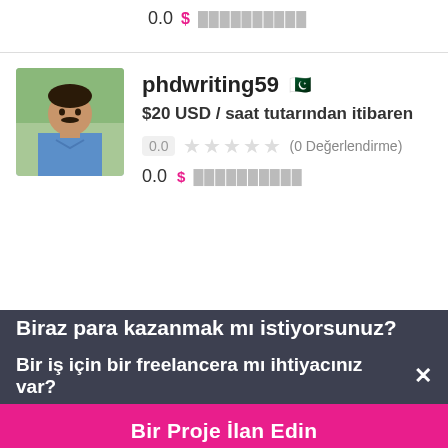0.0 $ ██████████
[Figure (photo): Profile photo of user phdwriting59, a man in a blue shirt]
phdwriting59 🇵🇰
$20 USD / saat tutarından itibaren
0.0 ★★★★★ (0 Değerlendirme)
0.0 $ ██████████
Biraz para kazanmak mı istiyorsunuz?
Bir iş için bir freelancera mı ihtiyacınız var? ✕
Bir Proje İlan Edin